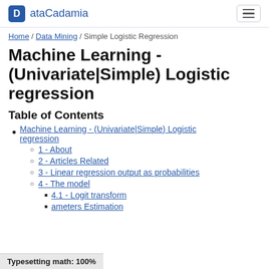ataCadamia
Home / Data Mining / Simple Logistic Regression
Machine Learning - (Univariate|Simple) Logistic regression
Table of Contents
Machine Learning - (Univariate|Simple) Logistic regression
1 - About
2 - Articles Related
3 - Linear regression output as probabilities
4 - The model
4.1 - Logit transform
ameters Estimation
Typesetting math: 100%